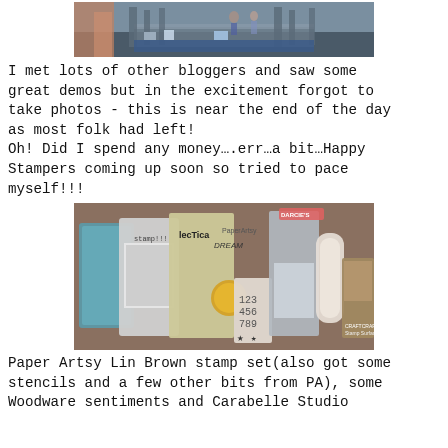[Figure (photo): Photo of a craft fair/expo hall near end of day, mostly empty, with tables and displays visible in the background.]
I met lots of other bloggers and saw some great demos but in the excitement forgot to take photos - this is near the end of the day as most folk had left!
Oh! Did I spend any money….err…a bit…Happy Stampers coming up soon so tried to pace myself!!!
[Figure (photo): Photo of a collection of craft supplies purchased: Paper Artsy Lin Brown stamp set, stencils, and other items including Woodware sentiments and Carabelle Studio products fanned out on a surface.]
Paper Artsy Lin Brown stamp set(also got some stencils and a few other bits from PA), some Woodware sentiments and Carabelle Studio